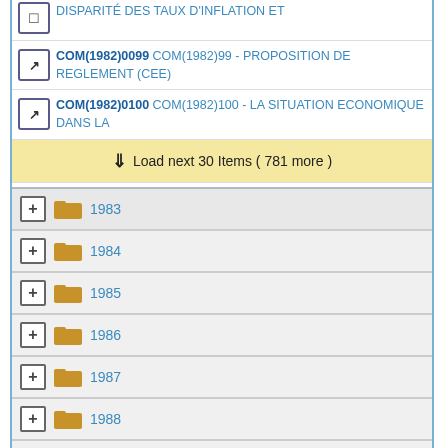DISPARITE DES TAUX D'INFLATION ET
COM(1982)0099 COM(1982)99 - PROPOSITION DE REGLEMENT (CEE)
COM(1982)0100 COM(1982)100 - LA SITUATION ECONOMIQUE DANS LA
Load next 30 Items ( 781 more )
1983
1984
1985
1986
1987
1988
1989
1990
1991